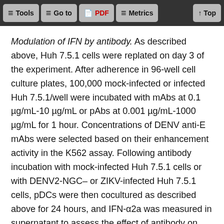Tools | Go to | PDF | Metrics | Top
Modulation of IFN by antibody. As described above, Huh 7.5.1 cells were replated on day 3 of the experiment. After adherence in 96-well cell culture plates, 100,000 mock-infected or infected Huh 7.5.1/well were incubated with mAbs at 0.1 µg/mL-10 µg/mL or pAbs at 0.001 µg/mL-1000 µg/mL for 1 hour. Concentrations of DENV anti-E mAbs were selected based on their enhancement activity in the K562 assay. Following antibody incubation with mock-infected Huh 7.5.1 cells or with DENV2-NGC– or ZIKV-infected Huh 7.5.1 cells, pDCs were then cocultured as described above for 24 hours, and IFN-α2a was measured in supernatant to assess the effect of antibody on IFN production.